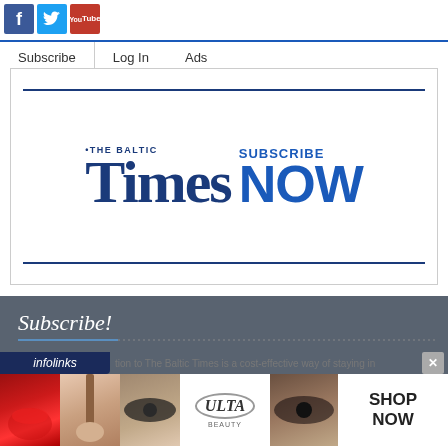[Figure (screenshot): Social media icons: Facebook (blue), Twitter (light blue), YouTube (red) at top left]
Subscribe   Log In   Ads
[Figure (logo): The Baltic Times SUBSCRIBE NOW logo with Times New Roman branding]
Subscribe!
infolinks
tion to The Baltic Times is a cost-effective way of staying in
[Figure (photo): Ulta Beauty advertisement banner with makeup/beauty imagery and SHOP NOW call to action]